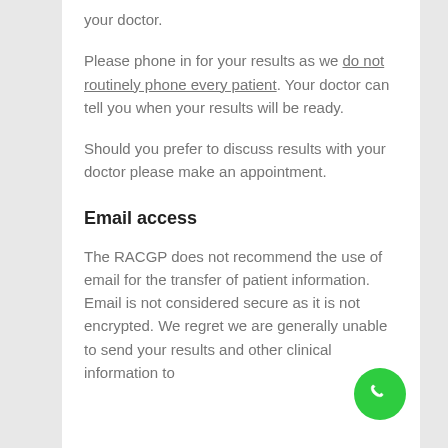your doctor.
Please phone in for your results as we do not routinely phone every patient. Your doctor can tell you when your results will be ready.
Should you prefer to discuss results with your doctor please make an appointment.
Email access
The RACGP does not recommend the use of email for the transfer of patient information. Email is not considered secure as it is not encrypted. We regret we are generally unable to send your results and other clinical information to